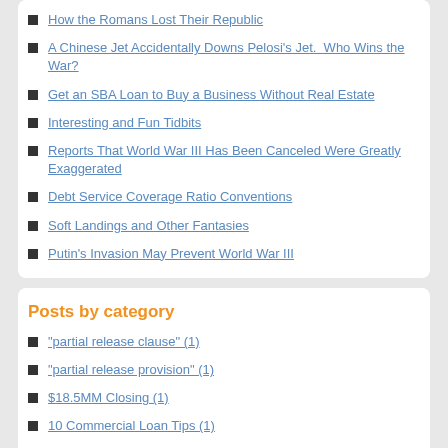How the Romans Lost Their Republic
A Chinese Jet Accidentally Downs Pelosi's Jet.  Who Wins the War?
Get an SBA Loan to Buy a Business Without Real Estate
Interesting and Fun Tidbits
Reports That World War III Has Been Canceled Were Greatly Exaggerated
Debt Service Coverage Ratio Conventions
Soft Landings and Other Fantasies
Putin's Invasion May Prevent World War III
Posts by category
"partial release clause" (1)
"partial release provision" (1)
$18.5MM Closing (1)
10 Commercial Loan Tips (1)
10% Rule (1)